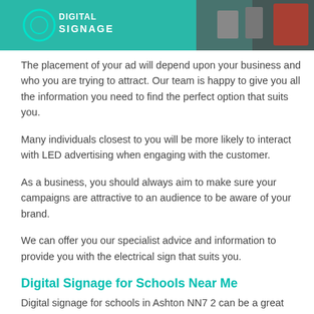[Figure (photo): Digital signage banner image showing LED/digital signage display with teal/green background and text 'DIGITAL SIGNAGE']
The placement of your ad will depend upon your business and who you are trying to attract. Our team is happy to give you all the information you need to find the perfect option that suits you.
Many individuals closest to you will be more likely to interact with LED advertising when engaging with the customer.
As a business, you should always aim to make sure your campaigns are attractive to an audience to be aware of your brand.
We can offer you our specialist advice and information to provide you with the electrical sign that suits you.
Digital Signage for Schools Near Me
Digital signage for schools in Ashton NN7 2 can be a great feature to encourage children to learn and develop their understanding.
As all educational facilities closest to me will be looking for exciting and original ways to help children further their learning, considering